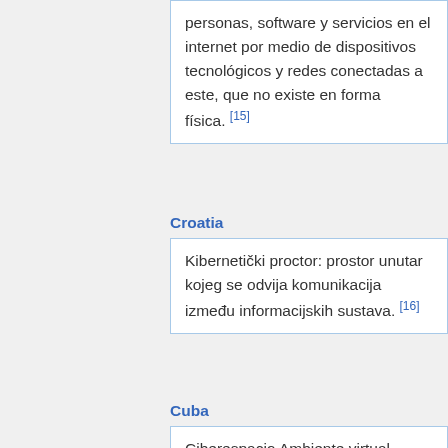personas, software y servicios en el internet por medio de dispositivos tecnológicos y redes conectadas a este, que no existe en forma física. [15]
Croatia
Kibernetički proctor: prostor unutar kojeg se odvija komunikacija između informacijskih sustava. [16]
Cuba
Ciberespacio Ambiente virtual